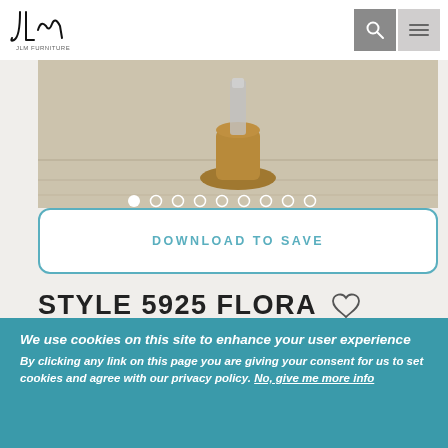[Figure (logo): JLm furniture script logo in black]
[Figure (photo): Product photo showing wooden furniture piece on a light wood floor background with carousel navigation dots]
DOWNLOAD TO SAVE
STYLE 5925 FLORA
[Figure (infographic): Social media sharing icons: Facebook, Twitter, Pinterest, Instagram, Email]
We use cookies on this site to enhance your user experience
By clicking any link on this page you are giving your consent for us to set cookies and agree with our privacy policy. No, give me more info